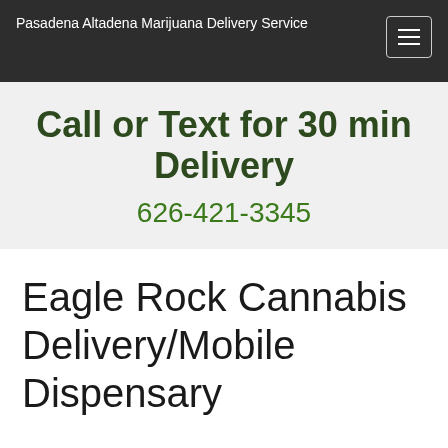Pasadena Altadena Marijuana Delivery Service
Call or Text for 30 min Delivery
626-421-3345
Eagle Rock Cannabis Delivery/Mobile Dispensary
AltaPas30minDelivery the Best Eagle Rock Marijuana Delivery